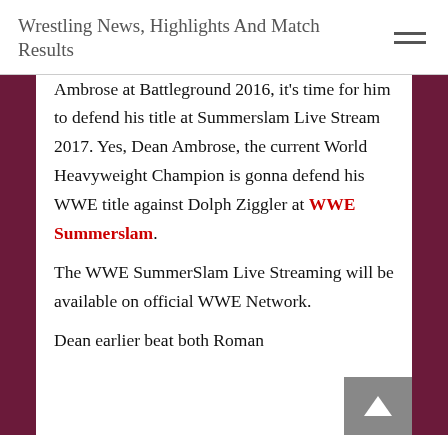Wrestling News, Highlights And Match Results
Ambrose at Battleground 2016, it's time for him to defend his title at Summerslam Live Stream 2017. Yes, Dean Ambrose, the current World Heavyweight Champion is gonna defend his WWE title against Dolph Ziggler at WWE Summerslam. The WWE SummerSlam Live Streaming will be available on official WWE Network. Dean earlier beat both Roman